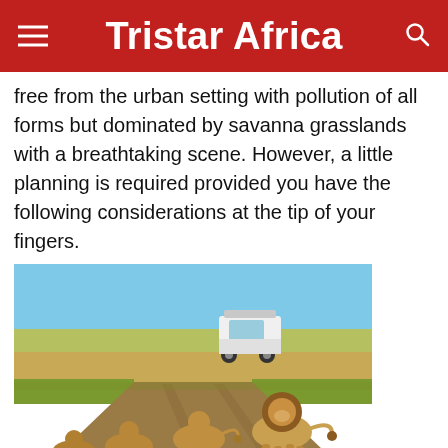Tristar Africa
free from the urban setting with pollution of all forms but dominated by savanna grasslands with a breathtaking scene. However, a little planning is required provided you have the following considerations at the tip of your fingers.
[Figure (photo): Lions walking on a dirt road in savanna grasslands with a safari vehicle in the background under a clear blue sky.]
Carefully select the destination you want to travel to